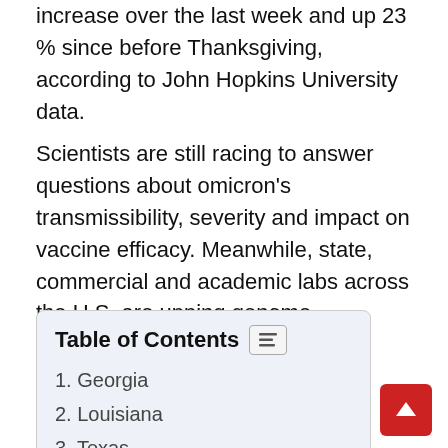increase over the last week and up 23% since before Thanksgiving, according to John Hopkins University data.
Scientists are still racing to answer questions about omicron's transmissibility, severity and impact on vaccine efficacy. Meanwhile, state, commercial and academic labs across the U.S. are upping genome sequencing efforts to detect more cases of the variant.
Table of Contents
1. Georgia
2. Louisiana
3. Texas
4. Florida